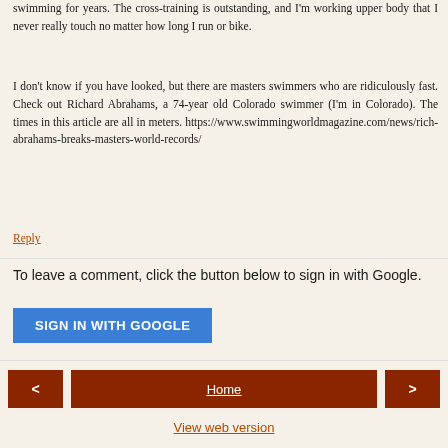swimming for years. The cross-training is outstanding, and I'm working upper body that I never really touch no matter how long I run or bike.
I don't know if you have looked, but there are masters swimmers who are ridiculously fast. Check out Richard Abrahams, a 74-year old Colorado swimmer (I'm in Colorado). The times in this article are all in meters. https://www.swimmingworldmagazine.com/news/rich-abrahams-breaks-masters-world-records/
Reply
To leave a comment, click the button below to sign in with Google.
[Figure (other): Blue 'SIGN IN WITH GOOGLE' button]
[Figure (other): Navigation bar with left arrow, Home link, right arrow]
View web version